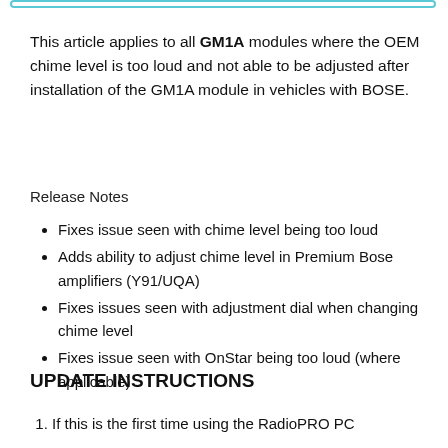This article applies to all GM1A modules where the OEM chime level is too loud and not able to be adjusted after installation of the GM1A module in vehicles with BOSE.
Release Notes
Fixes issue seen with chime level being too loud
Adds ability to adjust chime level in Premium Bose amplifiers (Y91/UQA)
Fixes issues seen with adjustment dial when changing chime level
Fixes issue seen with OnStar being too loud (where applicable)
UPDATE INSTRUCTIONS
If this is the first time using the RadioPRO PC